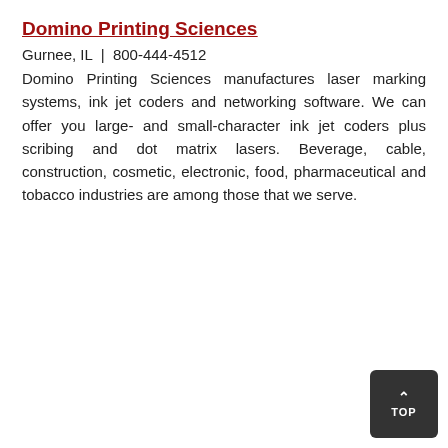Domino Printing Sciences
Gurnee, IL  |  800-444-4512
Domino Printing Sciences manufactures laser marking systems, ink jet coders and networking software. We can offer you large- and small-character ink jet coders plus scribing and dot matrix lasers. Beverage, cable, construction, cosmetic, electronic, food, pharmaceutical and tobacco industries are among those that we serve.